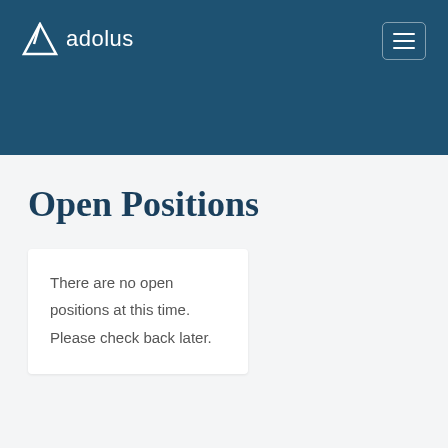adolus
Open Positions
There are no open positions at this time. Please check back later.